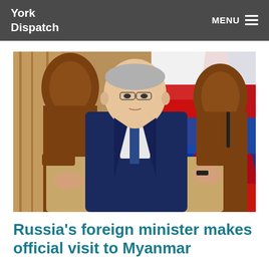York Dispatch | MENU
[Figure (photo): A man in a dark navy suit with a blue tie sits in an ornate carved wooden chair. He has gray hair and glasses, and appears to be in a formal diplomatic setting. Behind him is a red, white, and blue flag (Russian flag). A microphone is visible in the background.]
Russia's foreign minister makes official visit to Myanmar